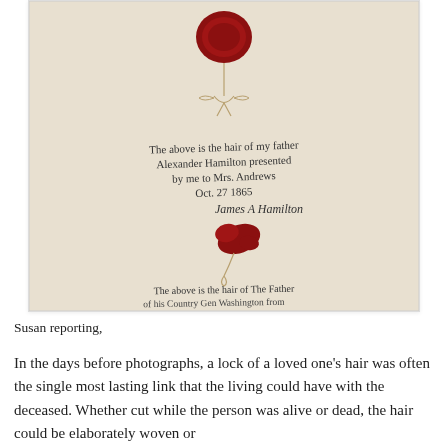[Figure (photo): A photograph of a historical document envelope or paper with two red wax seals attached by string, showing cursive handwritten text referencing Alexander Hamilton's hair and James A. Hamilton's signature, dated Oct 27, 1865.]
Susan reporting,
In the days before photographs, a lock of a loved one's hair was often the single most lasting link that the living could have with the deceased. Whether cut while the person was alive or dead, the hair could be elaborately woven or